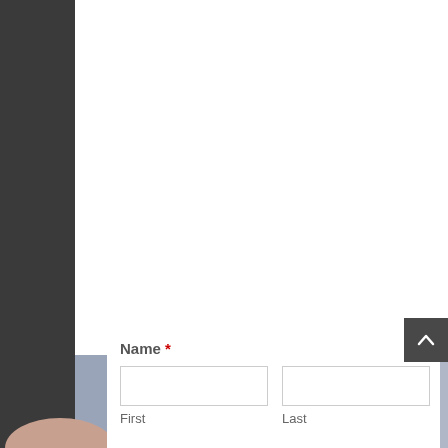[Figure (photo): Dark background with white panel at top and photo of person in suit/tie visible as a strip across the middle]
Name *
First
Last
Email *